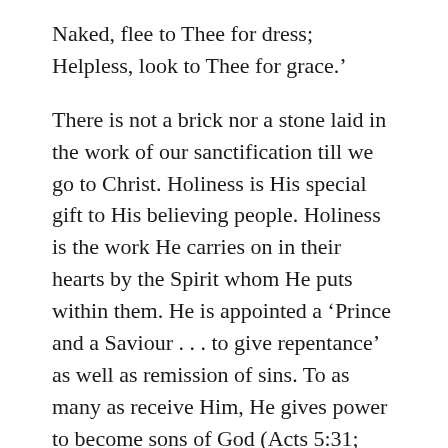Naked, flee to Thee for dress;
Helpless, look to Thee for grace.'
There is not a brick nor a stone laid in the work of our sanctification till we go to Christ. Holiness is His special gift to His believing people. Holiness is the work He carries on in their hearts by the Spirit whom He puts within them. He is appointed a 'Prince and a Saviour . . . to give repentance' as well as remission of sins. To as many as receive Him, He gives power to become sons of God (Acts 5:31; John 9:12, 13). Holiness comes not of blood: parents cannot give it to their children; nor yet of the will of the flesh: man cannot produce it in himself; nor yet of the will of man: ministers cannot give it you by baptism. Holiness comes